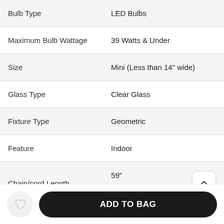| Attribute | Value |
| --- | --- |
| Bulb Type | LED Bulbs |
| Maximum Bulb Wattage | 39 Watts & Under |
| Size | Mini (Less than 14" wide) |
| Glass Type | Clear Glass |
| Fixture Type | Geometric |
| Feature | Indoor |
| Chain/cord Length | 59" |
| Color Temperature | Warm Light |
ADD TO BAG